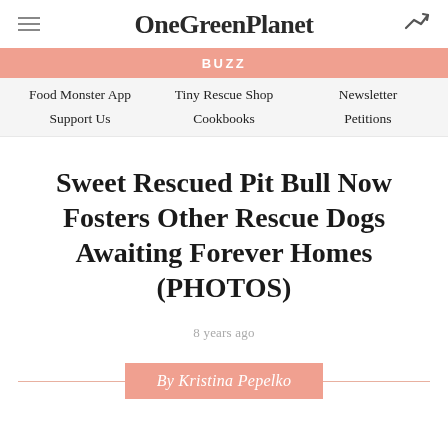OneGreenPlanet
BUZZ
Food Monster App   Tiny Rescue Shop   Newsletter   Support Us   Cookbooks   Petitions
Sweet Rescued Pit Bull Now Fosters Other Rescue Dogs Awaiting Forever Homes (PHOTOS)
8 years ago
By Kristina Pepelko